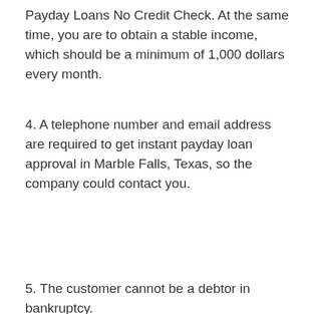Payday Loans No Credit Check. At the same time, you are to obtain a stable income, which should be a minimum of 1,000 dollars every month.
4. A telephone number and email address are required to get instant payday loan approval in Marble Falls, Texas, so the company could contact you.
5. The customer cannot be a debtor in bankruptcy.
You will also need to provide some of your details, including name, social security number, and the number of payday loans. As soon as the necessary information is submitted, they will contact you to approve the details. This way, all the terms, and conditions are approved in Marble Falls.
[Figure (other): Green 'Apply Now' button with text below: 'Applying does NOT affect your credit score! No credit check to apply.']
Get Cash Now
Marble Falls, TX payday loans have become much easier